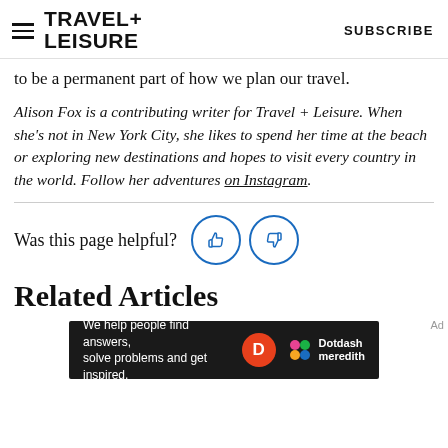TRAVEL+ LEISURE   SUBSCRIBE
to be a permanent part of how we plan our travel.
Alison Fox is a contributing writer for Travel + Leisure. When she's not in New York City, she likes to spend her time at the beach or exploring new destinations and hopes to visit every country in the world. Follow her adventures on Instagram.
Was this page helpful?
Related Articles
[Figure (infographic): Dotdash Meredith advertisement banner: 'We help people find answers, solve problems and get inspired.' with D logo and Dotdash Meredith branding]